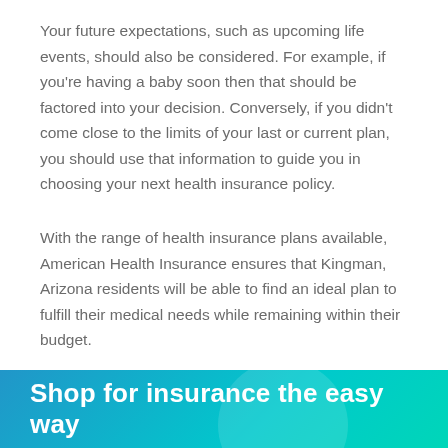Your future expectations, such as upcoming life events, should also be considered. For example, if you're having a baby soon then that should be factored into your decision. Conversely, if you didn't come close to the limits of your last or current plan, you should use that information to guide you in choosing your next health insurance policy.
With the range of health insurance plans available, American Health Insurance ensures that Kingman, Arizona residents will be able to find an ideal plan to fulfill their medical needs while remaining within their budget.
Shop for insurance the easy way